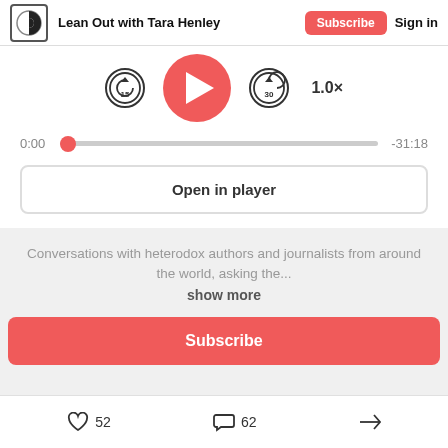Lean Out with Tara Henley | Subscribe | Sign in
[Figure (screenshot): Podcast audio player with play button, rewind 15s, forward 30s, speed 1.0x, progress bar at 0:00 of -31:18, and Open in player button]
Conversations with heterodox authors and journalists from around the world, asking the...
show more
Subscribe
52 likes  62 comments  share